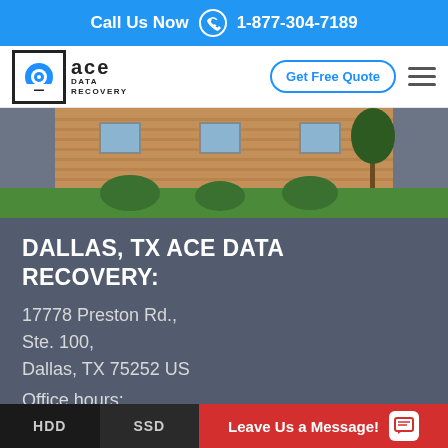Call Us Now 1-877-304-7189
[Figure (logo): Ace Data Recovery logo with blue circle and hard drive icon, with company name]
Get Free Quote
[Figure (photo): Exterior photo of a brick office building with green lawn and shrubs]
DALLAS, TX ACE DATA RECOVERY
17778 Preston Rd.,
Ste. 100,
Dallas, TX 75252 US
Office hours:
7:30am-7:00pm CST, Mon-Fri
HDD   SSD   Leave Us a Message!